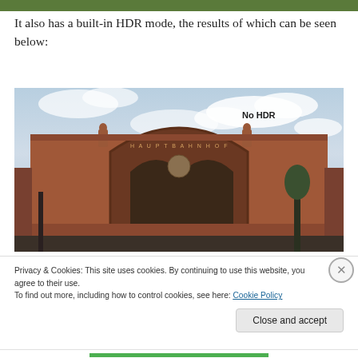[Figure (photo): Top green strip/banner at the top of page]
It also has a built-in HDR mode, the results of which can be seen below:
[Figure (photo): Photograph of a grand Victorian railway station building (Hauptbahnhof) with red brick facade, large arched windows, ornate decorations, under a partly cloudy sky. Label 'No HDR' in upper right of image.]
Privacy & Cookies: This site uses cookies. By continuing to use this website, you agree to their use.
To find out more, including how to control cookies, see here: Cookie Policy
Close and accept